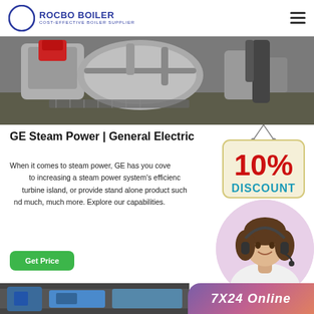ROCBO BOILER — COST-EFFECTIVE BOILER SUPPLIER
[Figure (photo): Industrial steam boiler equipment in a factory setting — red and grey machinery with pipes and valves on a concrete floor]
GE Steam Power | General Electric
[Figure (infographic): 10% DISCOUNT hanging sign badge overlaid on the page]
When it comes to steam power, GE has you covered. From to increasing a steam power system's efficiency to turbine island, or provide stand alone product such and much, much more. Explore our capabilities.
[Figure (photo): Customer support agent (woman with headset) in a circular frame]
[Figure (photo): Bottom strip showing industrial/boiler scene on the left, and a '7X24 Online' badge on the right]